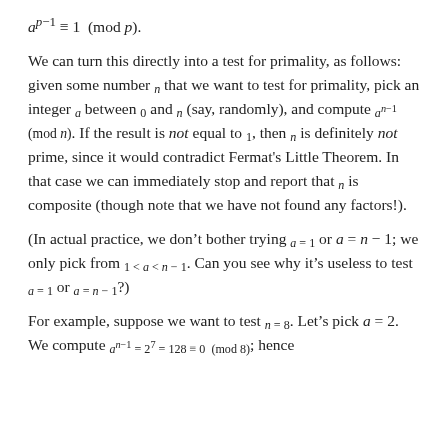We can turn this directly into a test for primality, as follows: given some number n that we want to test for primality, pick an integer a between 0 and n (say, randomly), and compute a^{n-1} (mod n). If the result is not equal to 1, then n is definitely not prime, since it would contradict Fermat's Little Theorem. In that case we can immediately stop and report that n is composite (though note that we have not found any factors!).
(In actual practice, we don't bother trying a = 1 or a = n - 1; we only pick from 1 < a < n - 1. Can you see why it's useless to test a = 1 or a = n - 1?)
For example, suppose we want to test n = 8. Let's pick a = 2. We compute a^{n-1} = 2^7 = 128 ≡ 0 (mod 8); hence